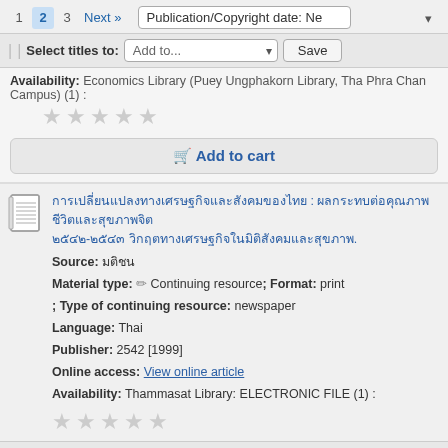1  2  3  Next »   Publication/Copyright date: Ne
Select titles to: Add to...  Save
Availability: Economics Library (Puey Ungphakorn Library, Tha Phra Chan Campus) (1) :
🛒 Add to cart
[Thai title] : [Thai subtitle] 2542-2543 [Thai text].
Source: [Thai]
Material type: Continuing resource; Format: print ; Type of continuing resource: newspaper
Language: Thai
Publisher: 2542 [1999]
Online access: View online article
Availability: Thammasat Library: ELECTRONIC FILE (1) :